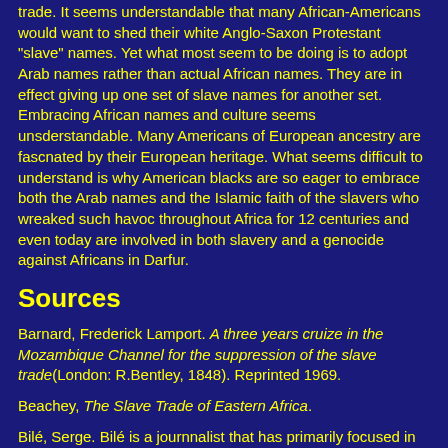trade. It seems understandable that many African-Americans would want to shed their white Anglo-Saxon Protestant "slave" names. Yet what most seem to be doing is to adopt Arab names rather than actual African names. They are in effect giving up one set of slave names for another set. Embracing African names and culture seems unsderstandable. Many Americans of European ancestry are fascnated by their European heritage. What seems difficult to understand is why American blacks are so eager to embrace both the Arab names and the Islamic faith of the slavers who wreaked such havoc throughout Africa for 12 centuries and even today are involved in both slavery and a genocide against Africans in Darfur.
Sources
Barnard, Frederick Lamport. A three years cruize in the Mozambique Channel for the suppression of the slave trade(London: R.Bentley, 1848). Reprinted 1969.
Beachey, The Slave Trade of Eastern Africa.
Bilé, Serge. Bilé is a journnalist that has primarily focused in tghe Atlkantic Slave Trade. c
Ricks, Thomas. "Slaves and Slave Traders in the Persian Gulf," in William Gervase Clarence-Smith, ed. The Economic of the Indian